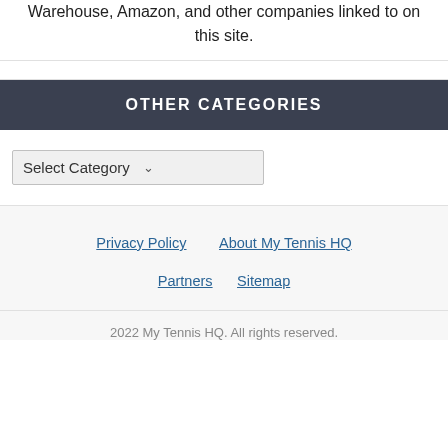Warehouse, Amazon, and other companies linked to on this site.
OTHER CATEGORIES
Select Category
Privacy Policy   About My Tennis HQ   Partners   Sitemap
2022 My Tennis HQ. All rights reserved.